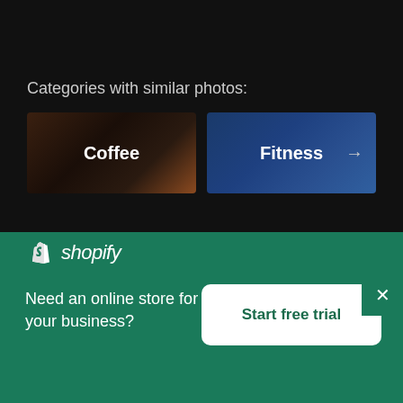Categories with similar photos:
[Figure (screenshot): Coffee category card with dark warm background]
[Figure (screenshot): Fitness category card with dark blue background and arrow]
Get first access to free photos and othe
[Figure (logo): Shopify logo with bag icon and italic text]
Need an online store for your business?
Start free trial